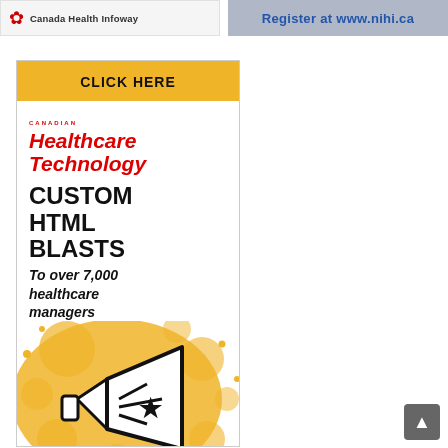[Figure (logo): Canada Health Infoway logo banner with red maple leaf icon and text 'Canada Health Infoway']
[Figure (photo): Banner with text 'Register at www.nihi.ca' over a blue background with person in background]
[Figure (infographic): Canadian Healthcare Technology advertisement: 'CLICK HERE' header in yellow, red logo text, bold text 'CUSTOM HTML BLASTS To over 7,000 healthcare managers' with yellow splat and megaphone illustration]